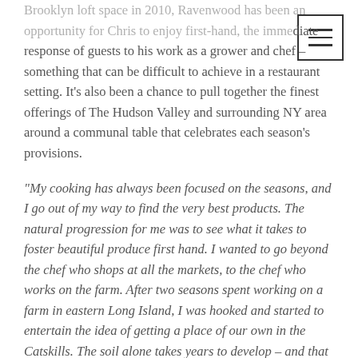Brooklyn loft space in 2010, Ravenwood has been an opportunity for Chris to enjoy first-hand, the immediate response of guests to his work as a grower and chef – something that can be difficult to achieve in a restaurant setting. It's also been a chance to pull together the finest offerings of The Hudson Valley and surrounding NY area around a communal table that celebrates each season's provisions.
“My cooking has always been focused on the seasons, and I go out of my way to find the very best products. The natural progression for me was to see what it takes to foster beautiful produce first hand. I wanted to go beyond the chef who shops at all the markets, to the chef who works on the farm. After two seasons spent working on a farm in eastern Long Island, I was hooked and started to entertain the idea of getting a place of our own in the Catskills. The soil alone takes years to develop – and that is just